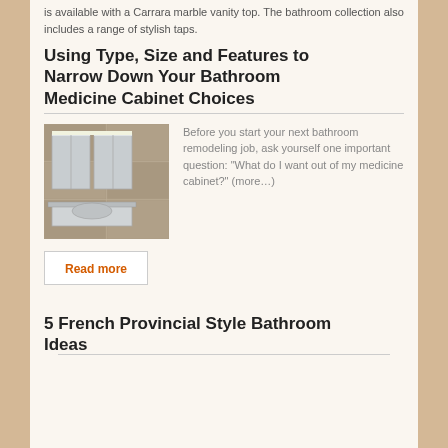is available with a Carrara marble vanity top. The bathroom collection also includes a range of stylish taps.
Using Type, Size and Features to Narrow Down Your Bathroom Medicine Cabinet Choices
[Figure (photo): A modern bathroom with wall-mounted cabinets and mirror lighting]
Before you start your next bathroom remodeling job, ask yourself one important question: “What do I want out of my medicine cabinet?” (more…)
Read more
5 French Provincial Style Bathroom Ideas